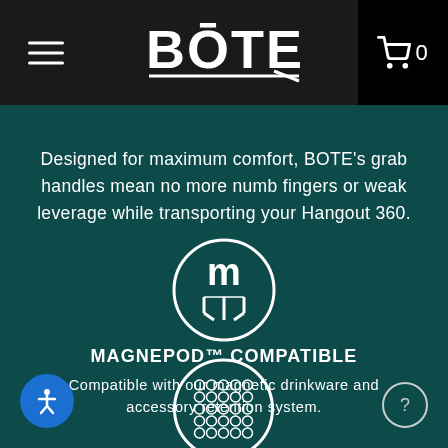BOTE (navigation bar with hamburger menu, BOTE logo, and cart with 0 items)
Designed for maximum comfort, BOTE's grab handles mean no more numb fingers or weak leverage while transporting your Hangout 360.
[Figure (illustration): MagnePod icon: circle outline with stylized letter M and magnetic handle graphic in white on teal background]
MAGNEPOD™ COMPATIBLE
Compatible with our magnetic drinkware and accessory retention system.
[Figure (illustration): Circular grid/mesh pattern icon in white outline on teal background, partially visible at bottom of page]